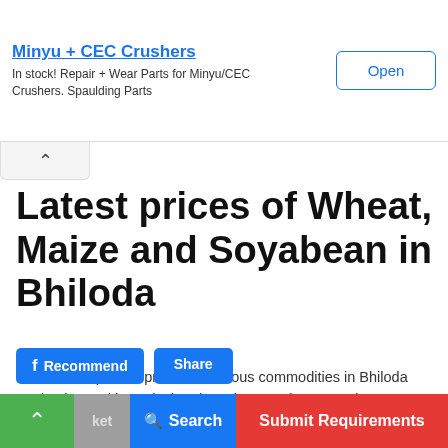[Figure (screenshot): Ad banner for Minyu + CEC Crushers with an Open button]
Latest prices of Wheat, Maize and Soyabean in Bhiloda
Latest and updated prices for various commodities in Bhiloda market located in Agricultural Produce Market Committee, Market Yard, Bhiloda, Distt.Arvalli, in Sabarkantha district and in the state of Gujarat
Soyabean   Price Updated at: Sat Sep 03 02:30:14 UTC 2022
Search   Submit Requirements